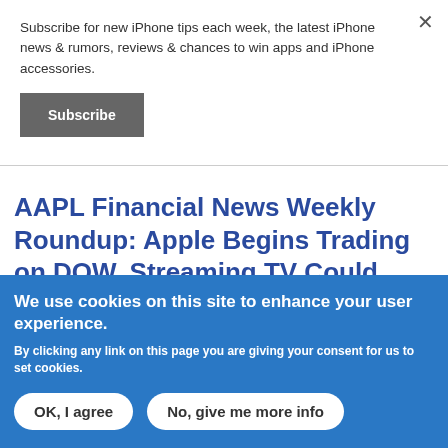Subscribe for new iPhone tips each week, the latest iPhone news & rumors, reviews & chances to win apps and iPhone accessories.
Subscribe
AAPL Financial News Weekly Roundup: Apple Begins Trading on DOW, Streaming TV Could Push Service Revenues Over 20% and
We use cookies on this site to enhance your user experience.
By clicking any link on this page you are giving your consent for us to set cookies.
OK, I agree
No, give me more info